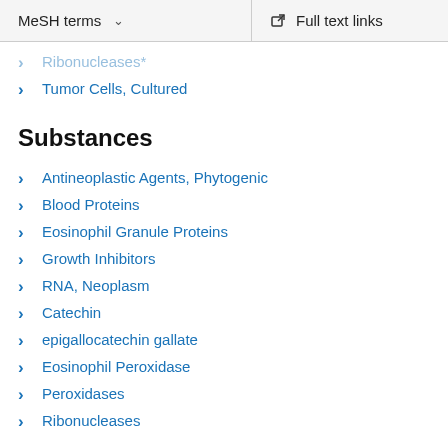MeSH terms  ∨    Full text links
Ribonucleases*
Tumor Cells, Cultured
Substances
Antineoplastic Agents, Phytogenic
Blood Proteins
Eosinophil Granule Proteins
Growth Inhibitors
RNA, Neoplasm
Catechin
epigallocatechin gallate
Eosinophil Peroxidase
Peroxidases
Ribonucleases